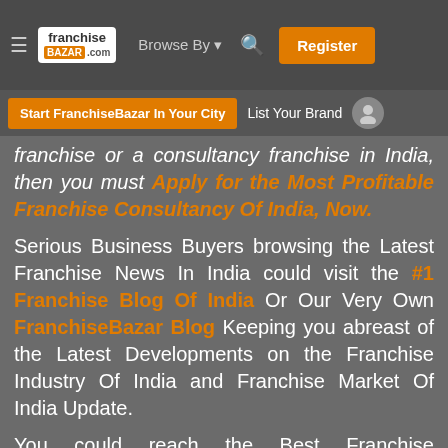franchise BAZAR .com | Browse By | Register
Start FranchiseBazar In Your City | List Your Brand
franchise or a consultancy franchise in India, then you must Apply for the Most Profitable Franchise Consultancy Of India, Now.
Serious Business Buyers browsing the Latest Franchise News In India could visit the #1 Franchise Blog Of India Or Our Very Own FranchiseBazar Blog Keeping you abreast of the Latest Developments on the Franchise Industry Of India and Franchise Market Of India Update.
You could reach the Best Franchise Consultants In Your City when you search for a